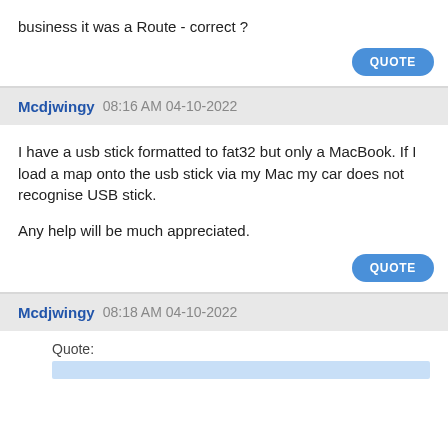business it was a Route - correct ?
QUOTE
Mcdjwingy 08:16 AM 04-10-2022
I have a usb stick formatted to fat32 but only a MacBook. If I load a map onto the usb stick via my Mac my car does not recognise USB stick.

Any help will be much appreciated.
QUOTE
Mcdjwingy 08:18 AM 04-10-2022
Quote: